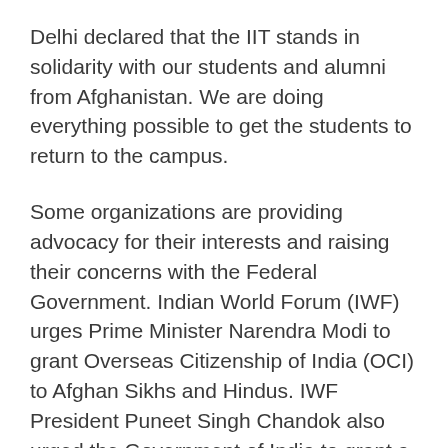Delhi declared that the IIT stands in solidarity with our students and alumni from Afghanistan. We are doing everything possible to get the students to return to the campus.
Some organizations are providing advocacy for their interests and raising their concerns with the Federal Government. Indian World Forum (IWF) urges Prime Minister Narendra Modi to grant Overseas Citizenship of India (OCI) to Afghan Sikhs and Hindus. IWF President Puneet Singh Chandok also urged the Government of India to grant a piece of land for setting up "Afghan Nagar"(Afghan locality) at a suitable location in New Delhi. He further urged the Government of India to impart training and recruit the Afghan Sikhs and Hindus in Armed